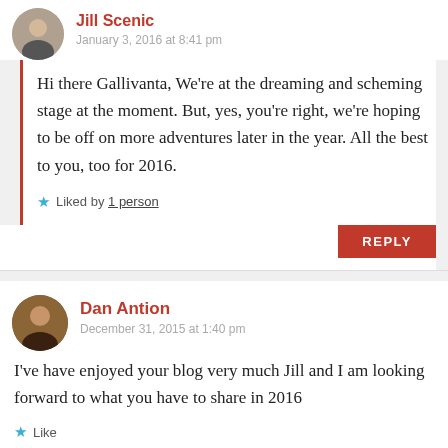Jill Scenic
January 3, 2016 at 8:41 pm
Hi there Gallivanta, We're at the dreaming and scheming stage at the moment. But, yes, you're right, we're hoping to be off on more adventures later in the year. All the best to you, too for 2016.
Liked by 1 person
REPLY
Dan Antion
December 31, 2015 at 1:40 pm
I've have enjoyed your blog very much Jill and I am looking forward to what you have to share in 2016
Like
REPLY